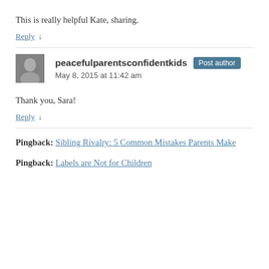This is really helpful Kate, sharing.
Reply ↓
peacefulparentsconfidentkids  Post author
May 8, 2015 at 11:42 am
Thank you, Sara!
Reply ↓
Pingback: Sibling Rivalry: 5 Common Mistakes Parents Make
Pingback: Labels are Not for Children